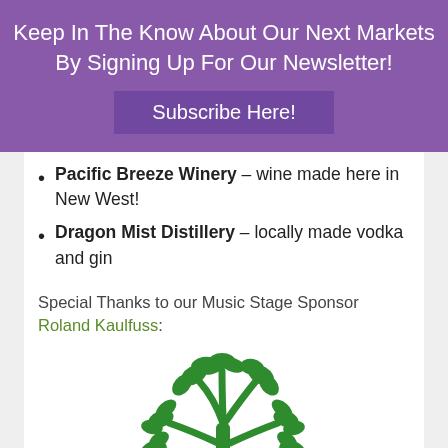Keep In The Know About Our Next Markets By Signing Up For Our Newsletter!
Subscribe Here!
Pacific Breeze Winery – wine made here in New West!
Dragon Mist Distillery – locally made vodka and gin
Special Thanks to our Music Stage Sponsor Roland Kaulfuss:
[Figure (illustration): Green plant/tree illustration logo for Roland Kaulfuss]